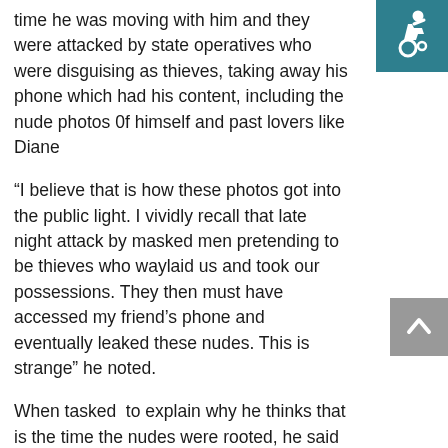[Figure (illustration): Accessibility wheelchair icon on teal/dark cyan background, top right corner]
time he was moving with him and they were attacked by state operatives who were disguising as thieves, taking away his phone which had his content, including the nude photos 0f himself and past lovers like Diane
“I believe that is how these photos got into the public light. I vividly recall that late night attack by masked men pretending to be thieves who waylaid us and took our possessions. They then must have accessed my friend’s phone and eventually leaked these nudes. This is strange” he noted.
[Figure (illustration): Grey scroll-to-top button with upward chevron arrow, right side]
When tasked  to explain why he thinks that is the time the nudes were rooted, he said he was sure the people who robbed him and his friend were operatives not thieves, owing to the fact that their raid was “commando” style- a technique for trained operatives and not amateur like for most